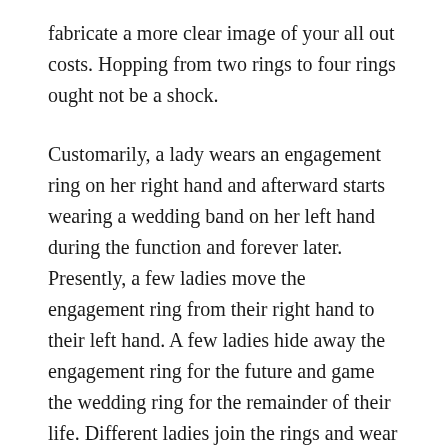fabricate a more clear image of your all out costs. Hopping from two rings to four rings ought not be a shock.
Customarily, a lady wears an engagement ring on her right hand and afterward starts wearing a wedding band on her left hand during the function and forever later. Presently, a few ladies move the engagement ring from their right hand to their left hand. A few ladies hide away the engagement ring for the future and game the wedding ring for the remainder of their life. Different ladies join the rings and wear both the engagement ring and the wedding band/wedding ring.
Obviously, this rationale would likewise apply to the